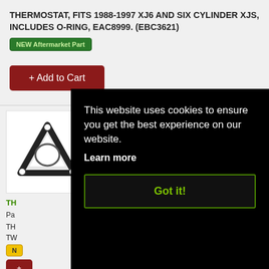THERMOSTAT, FITS 1988-1997 XJ6 AND SIX CYLINDER XJS, INCLUDES O-RING, EAC8999. (EBC3621)
NEW Aftermarket Part
+ Add to Cart
[Figure (photo): Two gasket photos: triangular gasket on left, square gasket on right]
TH...
Pa...
TH... TW...
N...
+ Add to Cart
This website uses cookies to ensure you get the best experience on our website.
Learn more
Got it!